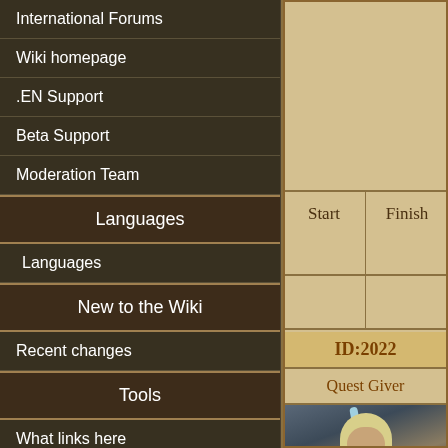International Forums
Wiki homepage
.EN Support
Beta Support
Moderation Team
Languages
Languages
New to the Wiki
Recent changes
Tools
What links here
| Start | Finish |
| --- | --- |
|  |  |
|  |  |
ID:2022
Quest Giver
[Figure (illustration): Character portrait of a blonde woman in blue outfit in a bar setting]